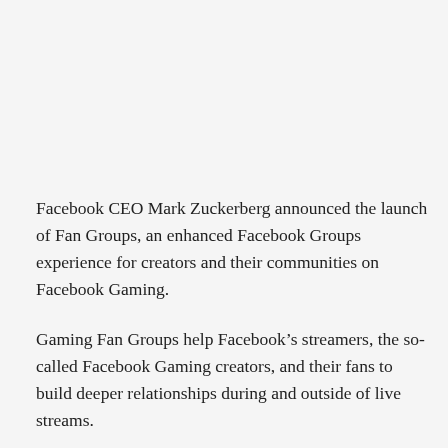Facebook CEO Mark Zuckerberg announced the launch of Fan Groups, an enhanced Facebook Groups experience for creators and their communities on Facebook Gaming.
Gaming Fan Groups help Facebook’s streamers, the so-called Facebook Gaming creators, and their fans to build deeper relationships during and outside of live streams.
Fidji Simo, head of the Facebook app, said in a statement that the company recognizes that there is so much involved in building a community and audience for gamers. Until now, creators have had a fragmented experience growing communities beyond their live streams. He said creators nurture